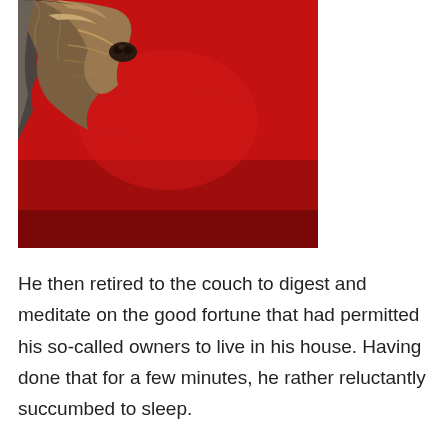[Figure (photo): Close-up photo of a small terrier dog (yorkie-type) resting its nose on a large red cushion or couch, viewed from above. The dog's face and fur are visible at the top, with the bright red fabric filling most of the frame.]
He then retired to the couch to digest and meditate on the good fortune that had permitted his so-called owners to live in his house. Having done that for a few minutes, he rather reluctantly succumbed to sleep.